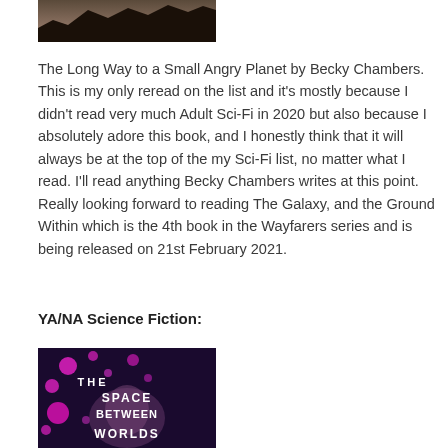[Figure (photo): Top portion of a book cover showing a dark landscape silhouette]
The Long Way to a Small Angry Planet by Becky Chambers. This is my only reread on the list and it's mostly because I didn't read very much Adult Sci-Fi in 2020 but also because I absolutely adore this book, and I honestly think that it will always be at the top of the my Sci-Fi list, no matter what I read. I'll read anything Becky Chambers writes at this point. Really looking forward to reading The Galaxy, and the Ground Within which is the 4th book in the Wayfarers series and is being released on 21st February 2021.
YA/NA Science Fiction:
[Figure (photo): Book cover of 'The Space Between Worlds' with a dark background, pink glowing dots/circles, and a person's face partially visible, white text reading THE SPACE BETWEEN WORLDS]